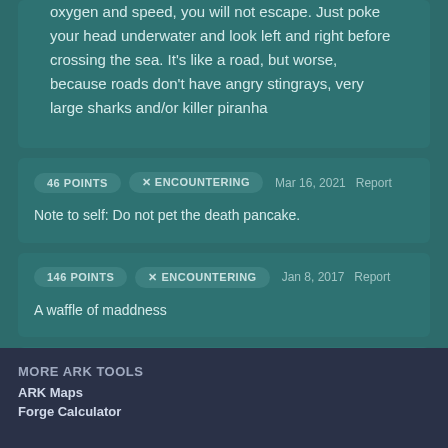oxygen and speed, you will not escape. Just poke your head underwater and look left and right before crossing the sea. It's like a road, but worse, because roads don't have angry stingrays, very large sharks and/or killer piranha
46 POINTS   X ENCOUNTERING   Mar 16, 2021   Report
Note to self: Do not pet the death pancake.
146 POINTS   X ENCOUNTERING   Jan 8, 2017   Report
A waffle of maddness
All Manta Tips
MORE ARK TOOLS
ARK Maps
Forge Calculator